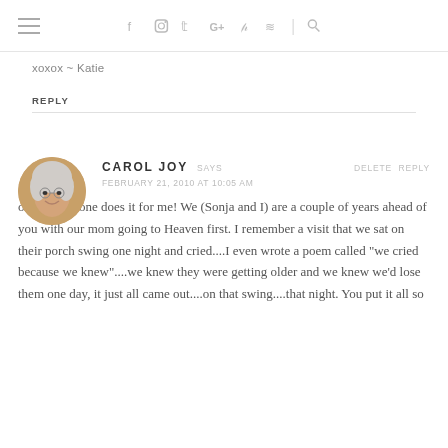Navigation header with hamburger menu and social icons (Facebook, Instagram, Twitter, Google+, Pinterest, RSS, Search)
xoxox ~ Katie
REPLY
[Figure (photo): Circular avatar photo of an older woman with curly gray/white hair, smiling]
CAROL JOY SAYS
FEBRUARY 21, 2010 AT 10:05 AM
oh boy this one does it for me! We (Sonja and I) are a couple of years ahead of you with our mom going to Heaven first. I remember a visit that we sat on their porch swing one night and cried....I even wrote a poem called "we cried because we knew"....we knew they were getting older and we knew we'd lose them one day, it just all came out....on that swing....that night. You put it all so